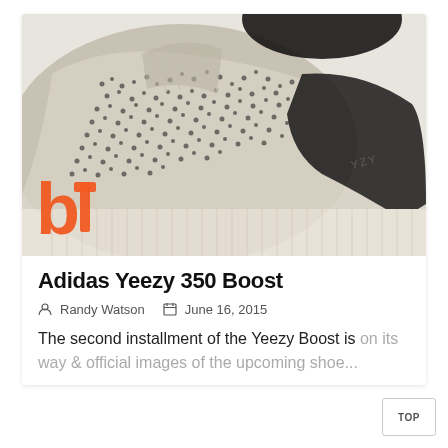[Figure (photo): Close-up product photo of an Adidas Yeezy 350 Boost sneaker showing the speckled gray/black knit upper, black suede heel, and distinctive ribbed white/cream sole with 'YZY' text. A publisher logo (orange 'bi' icon) is overlaid in the lower left.]
Adidas Yeezy 350 Boost
Randy Watson   June 16, 2015
The second installment of the Yeezy Boost is on its way & official images of the upcoming shoe...